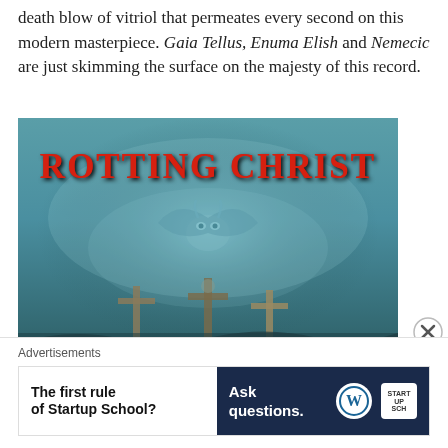death blow of vitriol that permeates every second on this modern masterpiece. Gaia Tellus, Enuma Elish and Nemecic are just skimming the surface on the majesty of this record.
[Figure (photo): Album cover art for Rotting Christ — teal/blue background with demonic figure and crosses in the foreground, band name in red dripping metal font at top]
Advertisements
[Figure (other): Advertisement banner: left white section reads 'The first rule of Startup School?' in bold; right dark navy section reads 'Ask questions.' with WordPress logo and Startup School logo]